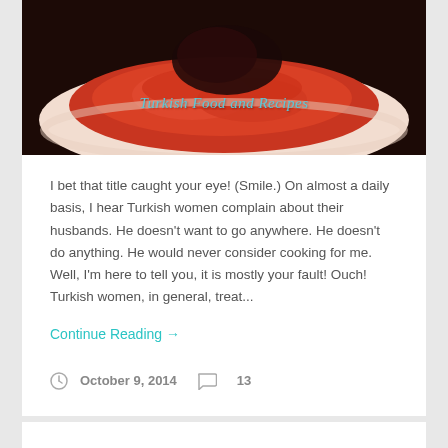[Figure (photo): Food photo showing a red tomato sauce dish on a white plate, with the blog watermark 'Turkish Food and Recipes' overlaid in teal italic text]
I bet that title caught your eye!  (Smile.) On almost a daily basis, I hear Turkish women complain about their husbands. He doesn't want to go anywhere.  He doesn't do anything.  He would never consider cooking for me.  Well, I'm here to tell you, it is mostly your fault! Ouch! Turkish women, in general, treat...
Continue Reading →
October 9, 2014   13